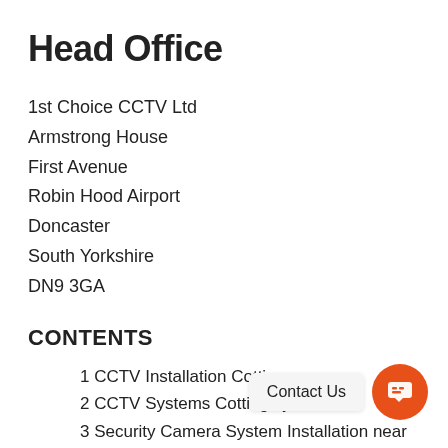Head Office
1st Choice CCTV Ltd
Armstrong House
First Avenue
Robin Hood Airport
Doncaster
South Yorkshire
DN9 3GA
CONTENTS
1 CCTV Installation Cotting…
2 CCTV Systems Cottingley
3 Security Camera System Installation near